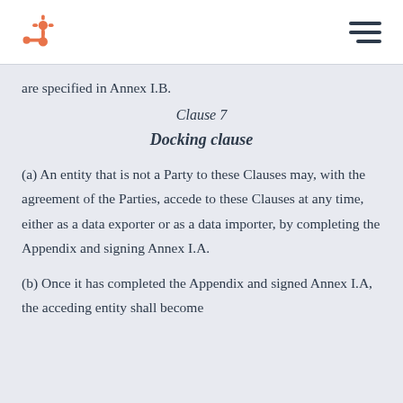HubSpot logo and navigation menu
are specified in Annex I.B.
Clause 7
Docking clause
(a) An entity that is not a Party to these Clauses may, with the agreement of the Parties, accede to these Clauses at any time, either as a data exporter or as a data importer, by completing the Appendix and signing Annex I.A.
(b) Once it has completed the Appendix and signed Annex I.A, the acceding entity shall become